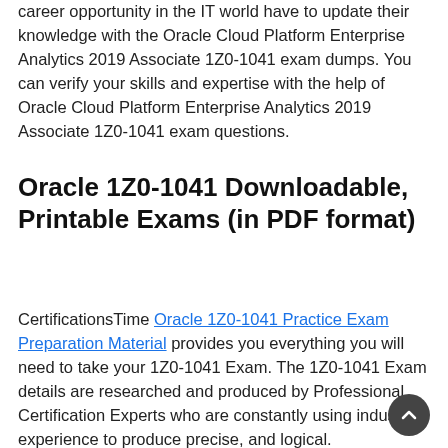career opportunity in the IT world have to update their knowledge with the Oracle Cloud Platform Enterprise Analytics 2019 Associate 1Z0-1041 exam dumps. You can verify your skills and expertise with the help of Oracle Cloud Platform Enterprise Analytics 2019 Associate 1Z0-1041 exam questions.
Oracle 1Z0-1041 Downloadable, Printable Exams (in PDF format)
CertificationsTime Oracle 1Z0-1041 Practice Exam Preparation Material provides you everything you will need to take your 1Z0-1041 Exam. The 1Z0-1041 Exam details are researched and produced by Professional Certification Experts who are constantly using industry experience to produce precise, and logical.